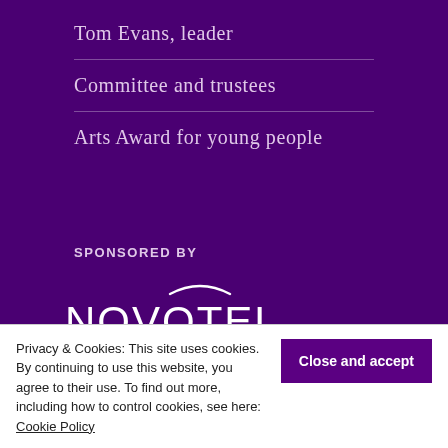Tom Evans, leader
Committee and trustees
Arts Award for young people
SPONSORED BY
[Figure (logo): Novotel Hotels & Resorts logo — white text on purple background with a curved line above the wordmark]
Privacy & Cookies: This site uses cookies. By continuing to use this website, you agree to their use. To find out more, including how to control cookies, see here: Cookie Policy